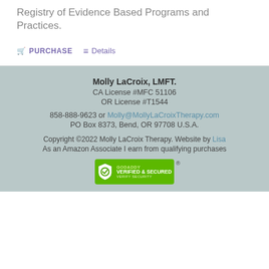Registry of Evidence Based Programs and Practices.
PURCHASE   Details
Molly LaCroix, LMFT.
CA License #MFC 51106
OR License #T1544
858-888-9623 or Molly@MollyLaCroixTherapy.com
PO Box 8373, Bend, OR 97708 U.S.A.
Copyright ©2022 Molly LaCroix Therapy. Website by Lisa
As an Amazon Associate I earn from qualifying purchases
[Figure (logo): GoDaddy Verified & Secured badge]